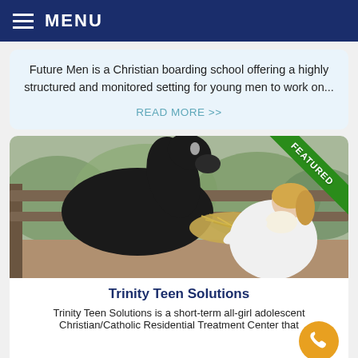MENU
Future Men is a Christian boarding school offering a highly structured and monitored setting for young men to work on...
READ MORE >>
[Figure (photo): A young blonde woman in a white jacket feeding hay to a dark horse over a wooden fence. A green 'FEATURED' diagonal banner badge is in the top-right corner of the image.]
Trinity Teen Solutions
Trinity Teen Solutions is a short-term all-girl adolescent Christian/Catholic Residential Treatment Center that